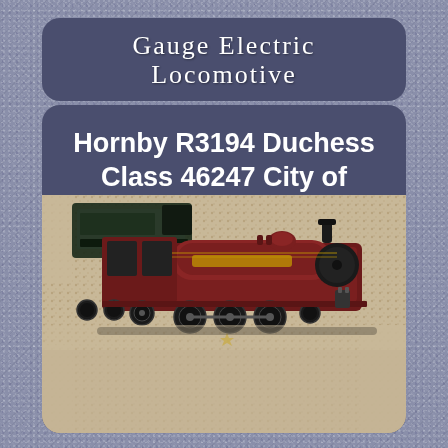Gauge Electric Locomotive
Hornby R3194 Duchess Class 46247 City of Liverpool 00 gauge Loco & tender no box
[Figure (photo): Top-down view of a Hornby R3194 Duchess Class 46247 City of Liverpool model locomotive and tender in maroon/dark red livery, placed on a beige/cream carpet or textile surface. The model shows detailed wheels, cab, and tender components.]